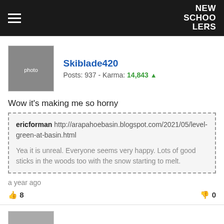NEW SCHOOLERS
[Figure (photo): Avatar image of user Skiblade420]
Skiblade420 Posts: 937 - Karma: 14,843
Wow it's making me so horny
ericforman http://arapahoebasin.blogspot.com/2021/05/level-green-at-basin.html

Yea it is unreal. Everyone seems very happy. Lots of good sticks in the woods too with the snow starting to melt.
a year ago
👍 8    👎 0
[Figure (photo): Avatar image of user Chrischi69]
Chrischi69 Posts: 652 - Karma: 4,977